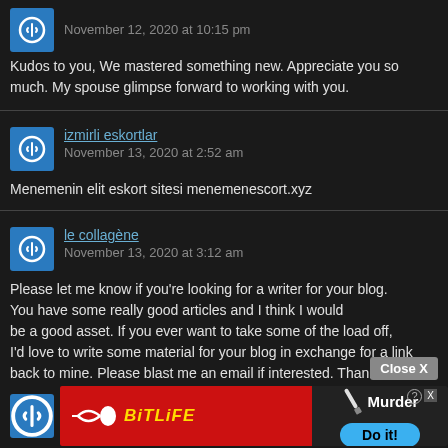November 12, 2020 at 10:15 pm
Kudos to you, We mastered something new. Appreciate you so much. My spouse glimpse forward to working with you.
izmirli eskortlar
November 13, 2020 at 2:52 am
Menemenin elit eskort sitesi menemenescort.xyz
le collagène
November 13, 2020 at 3:12 am
Please let me know if you're looking for a writer for your blog. You have some really good articles and I think I would be a good asset. If you ever want to take some of the load off, I'd love to write some material for your blog in exchange for a link back to mine. Please blast me an email if interested. Thanks!
[Figure (screenshot): BitLife and Murder Do it! advertisement banner at bottom of page]